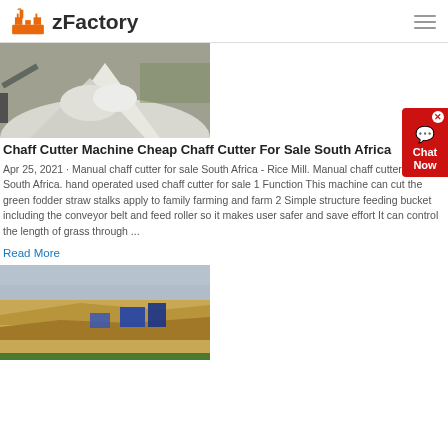zFactory
[Figure (photo): Pile of crushed white/grey stone aggregate at a quarry or factory site]
Chaff Cutter Machine Cheap Chaff Cutter For Sale South Africa
Apr 25, 2021 · Manual chaff cutter for sale South Africa - Rice Mill. Manual chaff cutter for sale South Africa. hand operated used chaff cutter for sale 1 Function This machine can cut the green fodder straw stalks apply to family farming and farm 2 Simple structure feeding bucket including the conveyor belt and feed roller so it makes user safer and save effort It can control the length of grass through ...
Read More
[Figure (photo): Open-pit quarry with mining machinery and sandy/rocky terrain under a hazy sky]